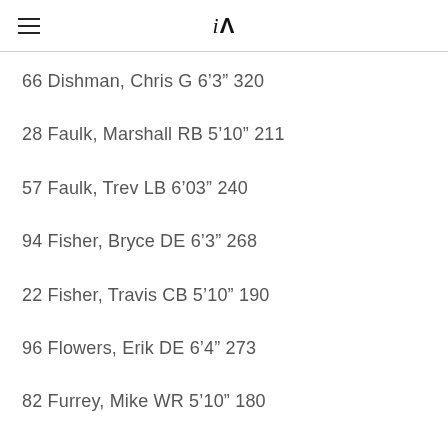iA
66 Dishman, Chris G 6’3” 320
28 Faulk, Marshall RB 5’10” 211
57 Faulk, Trev LB 6’03” 240
94 Fisher, Bryce DE 6’3” 268
22 Fisher, Travis CB 5’10” 190
96 Flowers, Erik DE 6’4” 273
82 Furrey, Mike WR 5’10” 180